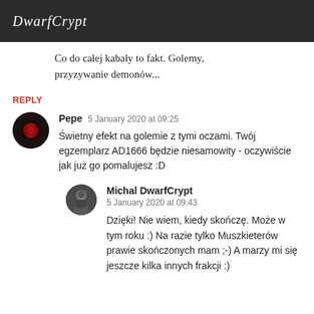DwarfCrypt
Co do całej kabały to fakt. Golemy, przyzywanie demonów...
REPLY
Pepe  5 January 2020 at 09:25
Świetny efekt na golemie z tymi oczami. Twój egzemplarz AD1666 będzie niesamowity - oczywiście jak już go pomalujesz :D
Michal DwarfCrypt
5 January 2020 at 09:43
Dzięki! Nie wiem, kiedy skończę. Może w tym roku :) Na razie tylko Muszkieterów prawie skończonych mam ;-) A marzy mi się jeszcze kilka innych frakcji :)